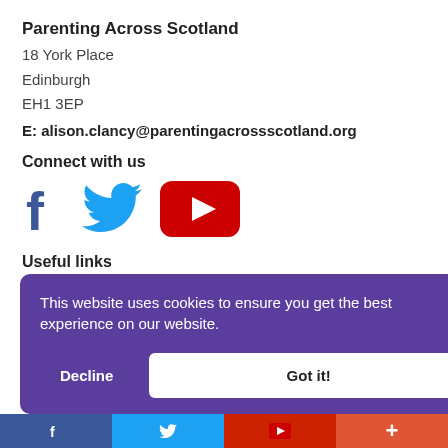Parenting Across Scotland
18 York Place
Edinburgh
EH1 3EP
E: alison.clancy@parentingacrossscotland.org
Connect with us
[Figure (illustration): Social media icons: Facebook (dark blue 'f'), Twitter (light blue bird), YouTube (red rectangle with white play button triangle)]
Useful links
This website uses cookies to ensure you get the best experience on our website.
Decline
Got it!